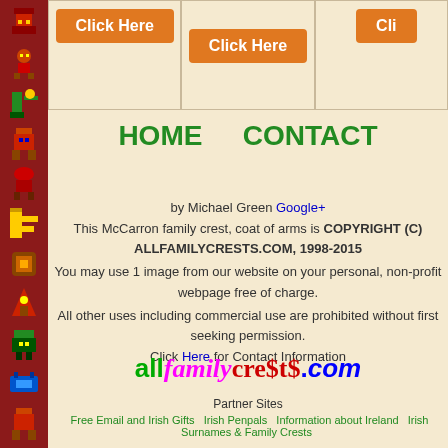[Figure (illustration): Left decorative red strip with small pixel art icons of various Irish/Celtic themed figures stacked vertically]
[Figure (illustration): Orange 'Click Here' button in first column]
[Figure (illustration): Orange 'Click Here' button in second column]
[Figure (illustration): Partially visible orange 'Cli...' button in third column]
HOME    CONTACT
by Michael Green Google+
This McCarron family crest, coat of arms is COPYRIGHT (C) ALLFAMILYCRESTS.COM, 1998-2015
You may use 1 image from our website on your personal, non-profit webpage free of charge.
All other uses including commercial use are prohibited without first seeking permission.
Click Here for Contact Information
[Figure (logo): allfamilycrests.com logo in multicolored decorative text]
Partner Sites
Free Email and Irish Gifts   Irish Penpals   Information about Ireland   Irish Surnames & Family Crests